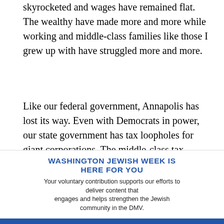skyrocketed and wages have remained flat. The wealthy have made more and more while working and middle-class families like those I grew up with have struggled more and more.
Like our federal government, Annapolis has lost its way. Even with Democrats in power, our state government has tax loopholes for giant corporations. The middle-class tax increases of the past eight years have been tough on families and seniors across the state, and those tax cuts that follow are the tax cuts that have been handed to the wealthy at the very
WASHINGTON JEWISH WEEK IS HERE FOR YOU
Your voluntary contribution supports our efforts to deliver content that engages and helps strengthen the Jewish community in the DMV.
CONTRIBUTE
shoulders of those who can least afford it.
As a legislator, I worked with some of my colleagues in the